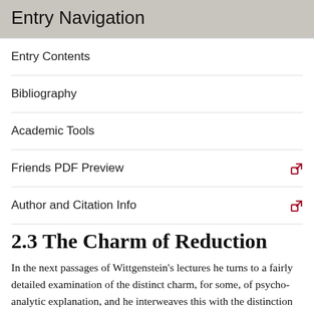Entry Navigation
Entry Contents
Bibliography
Academic Tools
Friends PDF Preview
Author and Citation Info
2.3 The Charm of Reduction
In the next passages of Wittgenstein's lectures he turns to a fairly detailed examination of the distinct charm, for some, of psycho-analytic explanation, and he interweaves this with the distinction between scientific-causal explanation of an action versus motive-based (or personally-generated) explanations of that action. It is easy, but mistaken, to read these passages as simply subject-switching anticipations of his lectures on Freud to follow. His fundamental interest here lies with the powerful charm, a kind of conceptual magnetism, of